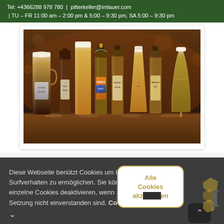Tel: +4366288 978 780  |  pitterkeller@imlauer.com  | TU – FR 11:00 am – 2:00 pm & 5:00 – 9:30 pm, SA 5:00 – 9:30 pm
[Figure (photo): Photo of multiple beer bottles and glasses arranged on a dark wooden bar surface, showing various Austrian craft beers including dark beer, wheat beer, and lager varieties]
Diese Webseite benützt Cookies um Ihnen ein optimales Surfverhalten zu ermöglichen. Sie können jedoch auch einzelne Cookies deaktivieren, wenn Sie mit deren Setzung nicht einverstanden sind. Cookies auswählen
Alle Cookies akzeptieren